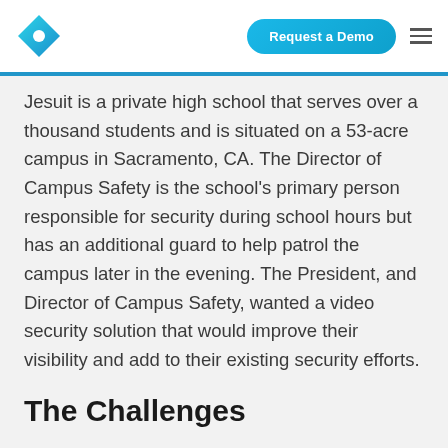Request a Demo
Jesuit is a private high school that serves over a thousand students and is situated on a 53-acre campus in Sacramento, CA. The Director of Campus Safety is the school's primary person responsible for security during school hours but has an additional guard to help patrol the campus later in the evening. The President, and Director of Campus Safety, wanted a video security solution that would improve their visibility and add to their existing security efforts.
The Challenges